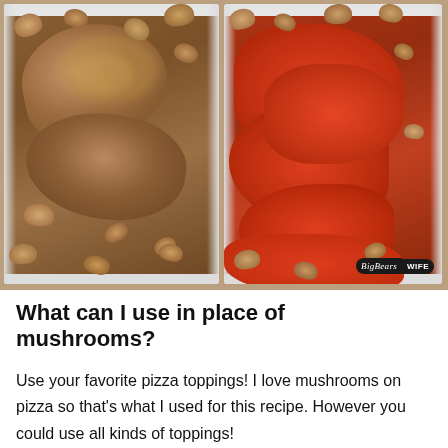[Figure (photo): Two side-by-side photos of a white baking dish: left shows portobello mushrooms sprinkled with seasoning, right shows the same dish with chunky tomato sauce poured over mushrooms. BigBears Wife watermark visible in bottom right of right photo.]
What can I use in place of mushrooms?
Use your favorite pizza toppings! I love mushrooms on pizza so that's what I used for this recipe. However you could use all kinds of toppings!